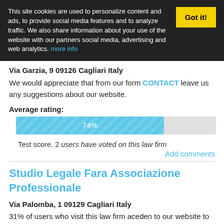This site cookies are used to personalize content and ads, to provide social media features and to analyze traffic. We also share information about your use of the website with our partners social media, advertising and web analytics. more info
Got it!
Via Garzia, 9 09126 Cagliari Italy
We would appreciate that from our form CONTACT leave us any suggestions about our website.
Average rating:
[Figure (bar-chart): Average rating]
Test score. 2 users have voted on this law firm
Add comments
Studio Legale Fara Associazione Professionale
Via Palomba, 1 09129 Cagliari Italy
31% of users who visit this law firm aceden to our website to leave your opinion.